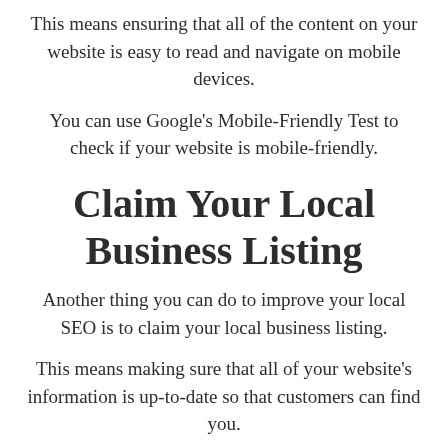This means ensuring that all of the content on your website is easy to read and navigate on mobile devices.
You can use Google's Mobile-Friendly Test to check if your website is mobile-friendly.
Claim Your Local Business Listing
Another thing you can do to improve your local SEO is to claim your local business listing.
This means making sure that all of your website's information is up-to-date so that customers can find you.
If your business listing isn't accurate, it might